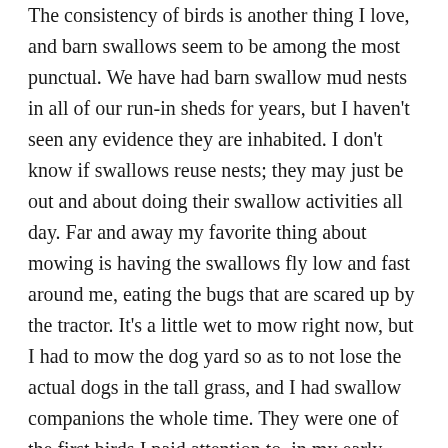The consistency of birds is another thing I love, and barn swallows seem to be among the most punctual. We have had barn swallow mud nests in all of our run-in sheds for years, but I haven't seen any evidence they are inhabited. I don't know if swallows reuse nests; they may just be out and about doing their swallow activities all day. Far and away my favorite thing about mowing is having the swallows fly low and fast around me, eating the bugs that are scared up by the tractor. It's a little wet to mow right now, but I had to mow the dog yard so as to not lose the actual dogs in the tall grass, and I had swallow companions the whole time. They were one of the first birds I paid attention to, in my early twenties when I didn't have attention for much but the fact that I seemed to be losing my mind. Luckily I was working on a 95 acre farm at the time and there was a lot of mowing to do. I sat on the tractor for hours, sifting through